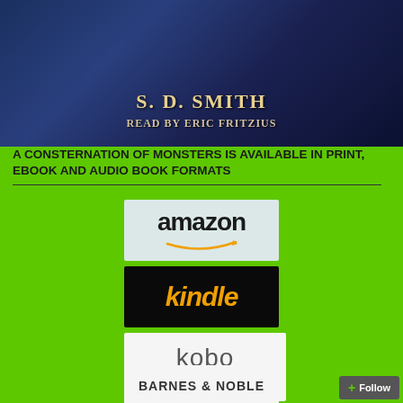[Figure (illustration): Book cover showing S. D. Smith author name and 'Read by Eric Fritzius' on a dark blue fantasy background]
A CONSTERNATION OF MONSTERS IS AVAILABLE IN PRINT, EBOOK AND AUDIO BOOK FORMATS
[Figure (logo): Amazon logo on light blue-gray background]
[Figure (logo): Kindle logo in orange text on black background]
[Figure (logo): Kobo logo in gray text with teal book icon on white background]
[Figure (logo): Barnes & Noble logo on white background]